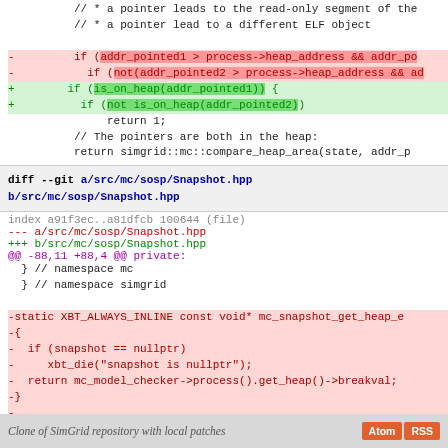[Figure (screenshot): Code diff screenshot showing changes to SimGrid repository files, including a/src/mc/sosp/Snapshot.hpp. Top section shows diff of heap comparison code with removed lines (red) and added lines (green). Bottom section shows diff for Snapshot.hpp removing mc_snapshot_get_heap_e function. Footer shows 'Clone of SimGrid repository with local patches' with Atom and RSS buttons.]
Clone of SimGrid repository with local patches